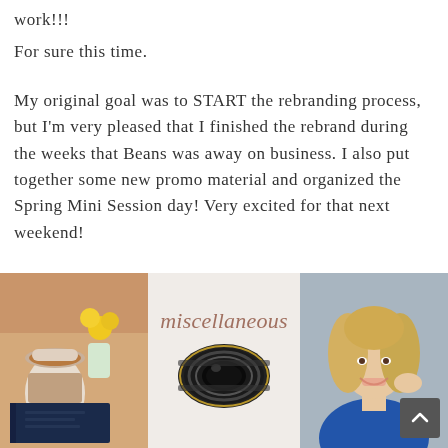work!!!
For sure this time.
My original goal was to START the rebranding process, but I'm very pleased that I finished the rebrand during the weeks that Beans was away on business. I also put together some new promo material and organized the Spring Mini Session day! Very excited for that next weekend!
[Figure (photo): Collage of three images: left - coffee cup, yellow flowers, and a dark blue notebook; center - camera lens on light background with cursive text 'miscellaneous'; right - smiling blonde woman in blue top]
miscellaneous